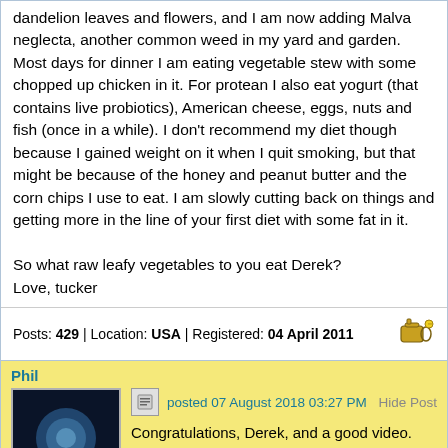dandelion leaves and flowers, and I am now adding Malva neglecta, another common weed in my yard and garden. Most days for dinner I am eating vegetable stew with some chopped up chicken in it. For protean I also eat yogurt (that contains live probiotics), American cheese, eggs, nuts and fish (once in a while). I don't recommend my diet though because I gained weight on it when I quit smoking, but that might be because of the honey and peanut butter and the corn chips I use to eat. I am slowly cutting back on things and getting more in the line of your first diet with some fat in it.

So what raw leafy vegetables to you eat Derek?
Love, tucker
Posts: 429 | Location: USA | Registered: 04 April 2011
Phil
posted 07 August 2018 03:27 PM
Hide Post
Congratulations, Derek, and a good video.

There really is so much we can do to help ourselves stay healthy through diet and exercise, and for those who've let things drift too far, it's good to know that there are strategies